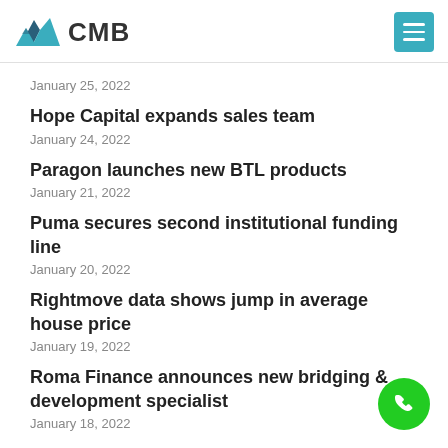CMB
January 25, 2022
Hope Capital expands sales team
January 24, 2022
Paragon launches new BTL products
January 21, 2022
Puma secures second institutional funding line
January 20, 2022
Rightmove data shows jump in average house price
January 19, 2022
Roma Finance announces new bridging & development specialist
January 18, 2022